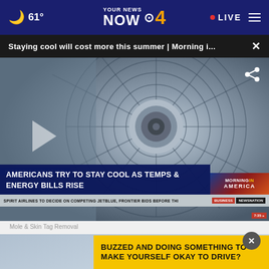61° YOUR NEWS NOW CBS 4 · LIVE
Staying cool will cost more this summer | Morning i...
[Figure (screenshot): Video thumbnail showing a large electric fan close-up with lower-third graphics: 'HISTORIC INFLATION' tag, headline 'AMERICANS TRY TO STAY COOL AS TEMPS & ENERGY BILLS RISE', Morning in America logo, and ticker 'SPIRIT AIRLINES TO DECIDE ON COMPETING JETBLUE, FRONTIER BIDS BEFORE THI BUSINESS NEWSNATION']
Mole & Skin Tag Removal
[Figure (screenshot): Advertisement with yellow banner text: BUZZED AND DOING SOMETHING TO MAKE YOURSELF OKAY TO DRIVE?]